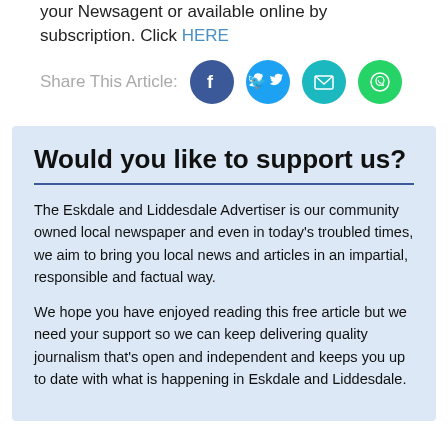your Newsagent or available online by subscription. Click HERE
[Figure (infographic): Share This Article social media icons: Facebook, Twitter, Email, WhatsApp]
Would you like to support us?
The Eskdale and Liddesdale Advertiser is our community owned local newspaper and even in today's troubled times, we aim to bring you local news and articles in an impartial, responsible and factual way.
We hope you have enjoyed reading this free article but we need your support so we can keep delivering quality journalism that's open and independent and keeps you up to date with what is happening in Eskdale and Liddesdale.